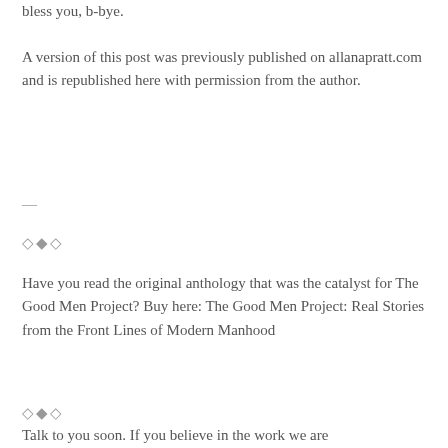bless you, b-bye.
A version of this post was previously published on allanapratt.com and is republished here with permission from the author.
—
◇◆◇
Have you read the original anthology that was the catalyst for The Good Men Project? Buy here: The Good Men Project: Real Stories from the Front Lines of Modern Manhood
◇◆◇
Talk to you soon. If you believe in the work we are